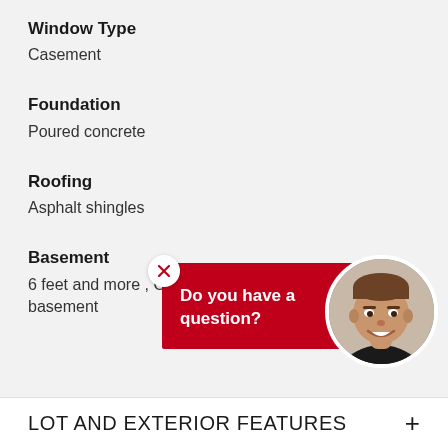Window Type
Casement
Foundation
Poured concrete
Roofing
Asphalt shingles
Basement
6 feet and more , Outdoor entrance , Finished basement
[Figure (other): Chat widget with red speech bubble saying 'Do you have a question?' and a circular photo of a male real estate agent, with a white close/X button]
LOT AND EXTERIOR FEATURES